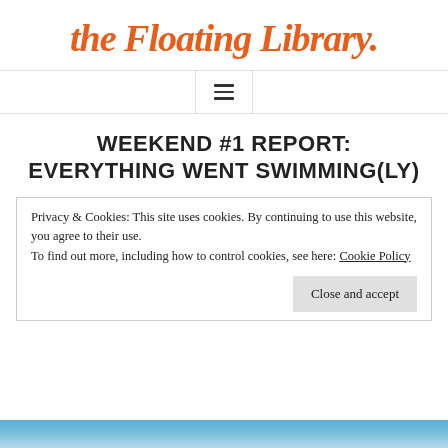the Floating Library
[Figure (other): Navigation hamburger menu icon (three horizontal lines)]
WEEKEND #1 REPORT: EVERYTHING WENT SWIMMING(LY)
Privacy & Cookies: This site uses cookies. By continuing to use this website, you agree to their use.
To find out more, including how to control cookies, see here: Cookie Policy
Close and accept
[Figure (photo): Bottom strip of a photo showing water or swimming-related image]